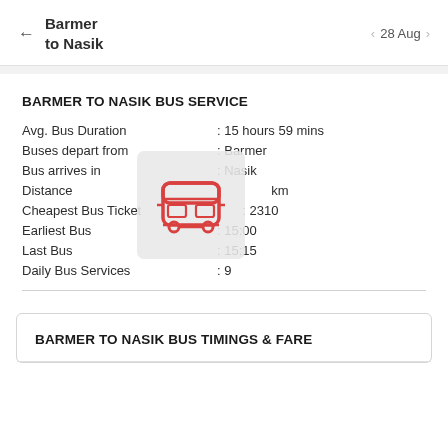Barmer to Nasik  ← 28 Aug →
BARMER TO NASIK BUS SERVICE
| Field | Value |
| --- | --- |
| Avg. Bus Duration | : 15 hours 59 mins |
| Buses depart from | : Barmer |
| Bus arrives in | : Nasik |
| Distance | : km |
| Cheapest Bus Ticket | : 2310 |
| Earliest Bus | : 15:00 |
| Last Bus | : 15:15 |
| Daily Bus Services | : 9 |
[Figure (illustration): Red bus icon overlaid on the info table]
BARMER TO NASIK BUS TIMINGS & FARE